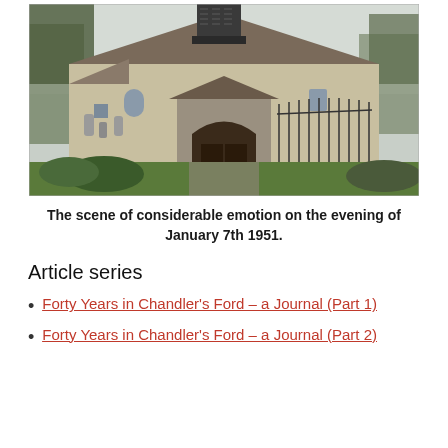[Figure (photo): Exterior photograph of a small historic English church with flint and render walls, a timber bell turret, arched doorway porch, surrounding gravestones, and a fence on the right. Bare winter trees visible on left and right sides. Green grass in foreground.]
The scene of considerable emotion on the evening of January 7th 1951.
Article series
Forty Years in Chandler's Ford – a Journal (Part 1)
Forty Years in Chandler's Ford – a Journal (Part 2)